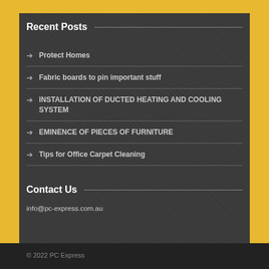Recent Posts
Protect Homes
Fabric boards to pin important stuff
INSTALLATION OF DUCTED HEATING AND COOLING SYSTEM
EMINENCE OF PIECES OF FURNITURE
Tips for Office Carpet Cleaning
Contact Us
info@pc-express.com.au
© 2022 PC Express